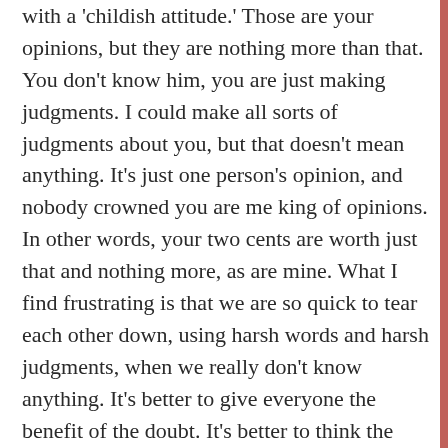with a 'childish attitude.' Those are your opinions, but they are nothing more than that. You don't know him, you are just making judgments. I could make all sorts of judgments about you, but that doesn't mean anything. It's just one person's opinion, and nobody crowned you are me king of opinions. In other words, your two cents are worth just that and nothing more, as are mine. What I find frustrating is that we are so quick to tear each other down, using harsh words and harsh judgments, when we really don't know anything. It's better to give everyone the benefit of the doubt. It's better to think the best of people and not the worst.